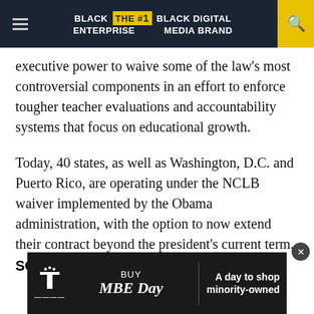BLACK ENTERPRISE THE #1 BLACK DIGITAL MEDIA BRAND
executive power to waive some of the law's most controversial components in an effort to enforce tougher teacher evaluations and accountability systems that focus on educational growth.
Today, 40 states, as well as Washington, D.C. and Puerto Rico, are operating under the NCLB waiver implemented by the Obama administration, with the option to now extend their contract beyond the president's current term.
SOURCE: HuffingtonPost
[Figure (advertisement): T-Mobile Buy MBE Day advertisement banner with text 'A day to shop minority-owned']